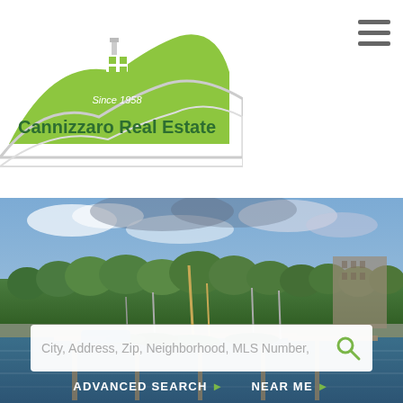[Figure (logo): Cannizzaro Real Estate logo with green hill/house graphic and 'Since 1958' text]
[Figure (photo): Marina/harbor scene with sailboats docked at wooden piers, tree-lined shore and buildings in background, blue sky with clouds]
City, Address, Zip, Neighborhood, MLS Number,
ADVANCED SEARCH ▶
NEAR ME ▶
258 Thomas Lane
Stowe, VT 05472